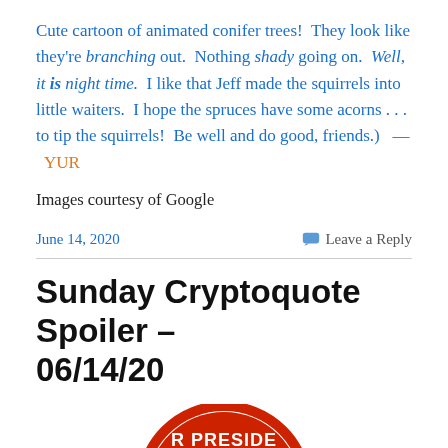Cute cartoon of animated conifer trees!  They look like they're branching out.  Nothing shady going on.  Well, it is night time.  I like that Jeff made the squirrels into little waiters.  I hope the spruces have some acorns . . . to tip the squirrels!  Be well and do good, friends.)   —   YUR
Images courtesy of Google
June 14, 2020
Leave a Reply
Sunday Cryptoquote Spoiler – 06/14/20
[Figure (photo): Partial circular badge/button showing text 'R PRESIDE' in red letters on white background, with a partial portrait photo below]